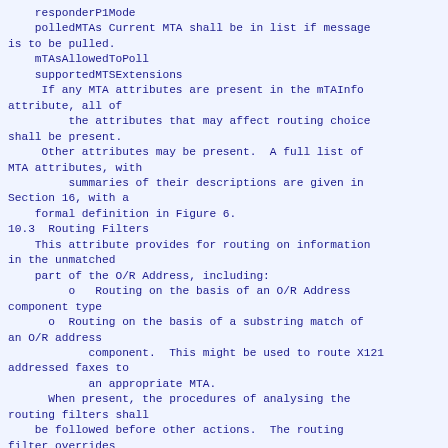responderP1Mode
    polledMTAs Current MTA shall be in list if message is to be pulled.
    mTAsAllowedToPoll
    supportedMTSExtensions
     If any MTA attributes are present in the mTAInfo attribute, all of
         the attributes that may affect routing choice shall be present.
     Other attributes may be present.  A full list of MTA attributes, with
         summaries of their descriptions are given in Section 16, with a
    formal definition in Figure 6.
10.3  Routing Filters
    This attribute provides for routing on information in the unmatched
    part of the O/R Address, including:
         o   Routing on the basis of an O/R Address component type
      o  Routing on the basis of a substring match of an O/R address
            component.  This might be used to route X121 addressed faxes to
            an appropriate MTA.
      When present, the procedures of analysing the routing filters shall
    be followed before other actions.  The routing filter overrides
    mTAInfo and accessMD attributes, which means that